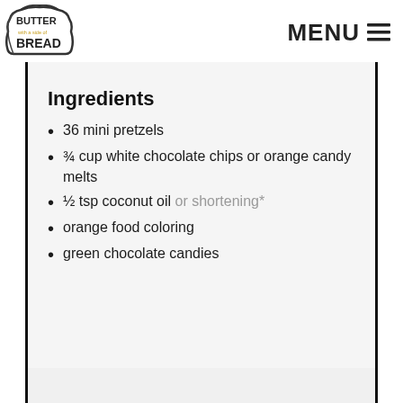BUTTER with a side of BREAD | MENU
Ingredients
36 mini pretzels
¾ cup white chocolate chips or orange candy melts
½ tsp coconut oil or shortening*
orange food coloring
green chocolate candies